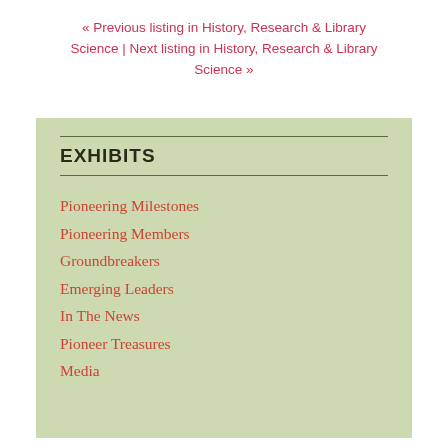« Previous listing in History, Research & Library Science | Next listing in History, Research & Library Science »
EXHIBITS
Pioneering Milestones
Pioneering Members
Groundbreakers
Emerging Leaders
In The News
Pioneer Treasures
Media